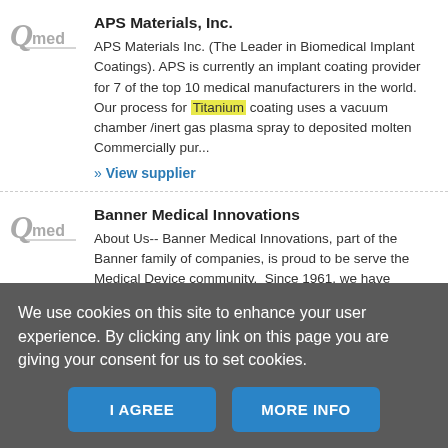[Figure (logo): Qmed logo - grey Q with 'med' text]
APS Materials, Inc.
APS Materials Inc. (The Leader in Biomedical Implant Coatings). APS is currently an implant coating provider for 7 of the top 10 medical manufacturers in the world. Our process for Titanium coating uses a vacuum chamber /inert gas plasma spray to deposited molten Commercially pur...
» View supplier
[Figure (logo): Qmed logo - grey Q with 'med' text]
Banner Medical Innovations
About Us-- Banner Medical Innovations, part of the Banner family of companies, is proud to be serve the Medical Device community.  Since 1961, we have
We use cookies on this site to enhance your user experience. By clicking any link on this page you are giving your consent for us to set cookies.